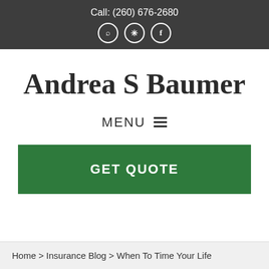Call: (260) 676-2680
Andrea S Baumer
MENU
GET QUOTE
Home > Insurance Blog > When To Time Your Life